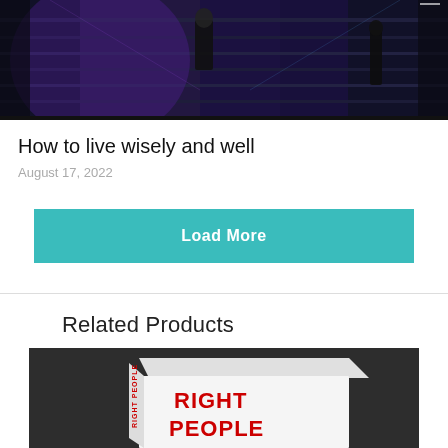[Figure (photo): Stage performance photo - person on stage with blue/purple lighting and band in background]
How to live wisely and well
August 17, 2022
Load More
Related Products
[Figure (photo): Book product image - white book with red text reading RIGHT PEOPLE on dark background]